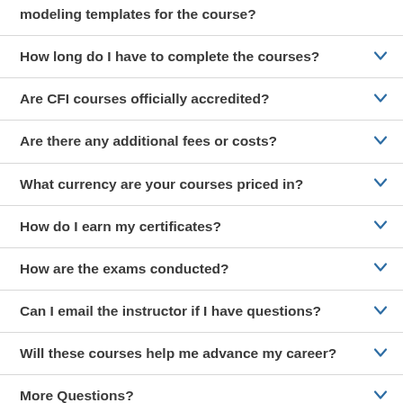modeling templates for the course?
How long do I have to complete the courses?
Are CFI courses officially accredited?
Are there any additional fees or costs?
What currency are your courses priced in?
How do I earn my certificates?
How are the exams conducted?
Can I email the instructor if I have questions?
Will these courses help me advance my career?
More Questions?